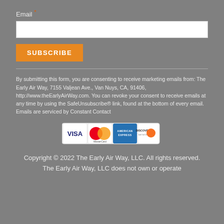Email *
[Figure (other): Email input text field (white rectangle)]
SUBSCRIBE
By submitting this form, you are consenting to receive marketing emails from: The Early Air Way, 7155 Valjean Ave., Van Nuys, CA, 91406, http://www.theEarlyAirWay.com. You can revoke your consent to receive emails at any time by using the SafeUnsubscribe® link, found at the bottom of every email. Emails are serviced by Constant Contact
[Figure (other): Payment card logos: Visa, Mastercard, American Express, Discover]
Copyright © 2022 The Early Air Way, LLC. All rights reserved.
The Early Air Way, LLC does not own or operate